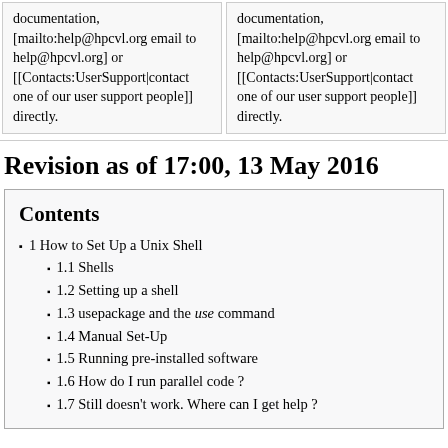documentation, [mailto:help@hpcvl.org email to help@hpcvl.org] or [[Contacts:UserSupport|contact one of our user support people]] directly.
documentation, [mailto:help@hpcvl.org email to help@hpcvl.org] or [[Contacts:UserSupport|contact one of our user support people]] directly.
Revision as of 17:00, 13 May 2016
Contents
1 How to Set Up a Unix Shell
1.1 Shells
1.2 Setting up a shell
1.3 usepackage and the use command
1.4 Manual Set-Up
1.5 Running pre-installed software
1.6 How do I run parallel code ?
1.7 Still doesn't work. Where can I get help ?